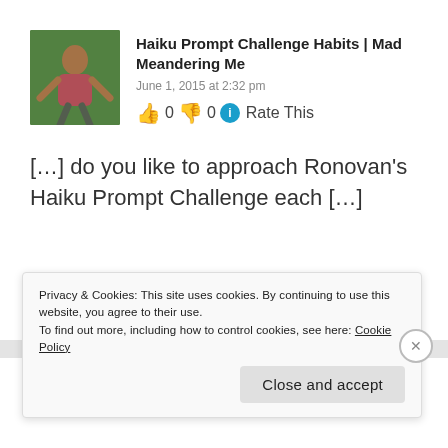[Figure (photo): Avatar photo of a woman jumping outdoors with green foliage background]
Haiku Prompt Challenge Habits | Mad Meandering Me
June 1, 2015 at 2:32 pm
👍 0 👎 0 ℹ Rate This
[…] do you like to approach Ronovan's Haiku Prompt Challenge each […]
★ Like
Privacy & Cookies: This site uses cookies. By continuing to use this website, you agree to their use. To find out more, including how to control cookies, see here: Cookie Policy
Close and accept